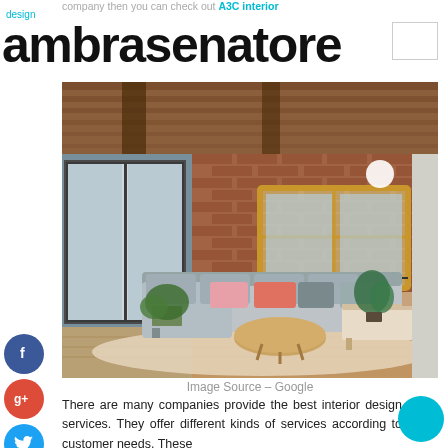company then you can check out A3C interior design
ambrasenatore
[Figure (photo): Interior living room with exposed brick wall, wooden ceiling beams, grey sectional sofa with pink and coral cushions, plants, and round coffee table on a patterned rug]
Image Source – Google
There are many companies provide the best interior design services. They offer different kinds of services according to customer needs. These